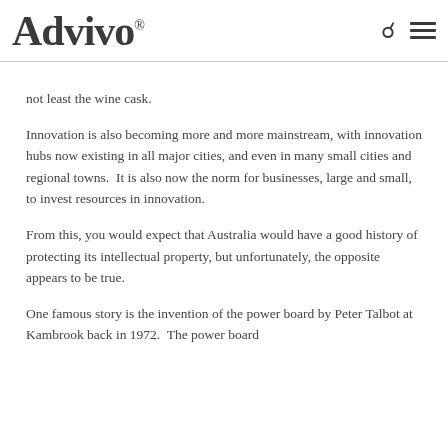Advivo®
not least the wine cask.
Innovation is also becoming more and more mainstream, with innovation hubs now existing in all major cities, and even in many small cities and regional towns.  It is also now the norm for businesses, large and small, to invest resources in innovation.
From this, you would expect that Australia would have a good history of protecting its intellectual property, but unfortunately, the opposite appears to be true.
One famous story is the invention of the power board by Peter Talbot at Kambrook back in 1972.  The power board